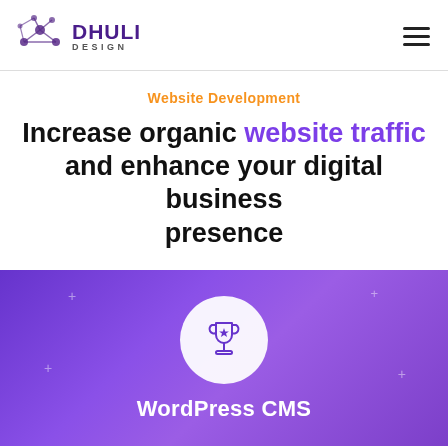[Figure (logo): Dhuli Design logo with network/molecule SVG icon and text 'DHULI DESIGN']
Website Development
Increase organic website traffic and enhance your digital business presence
[Figure (illustration): Purple gradient card with trophy icon in white circle and 'WordPress CMS' text in white]